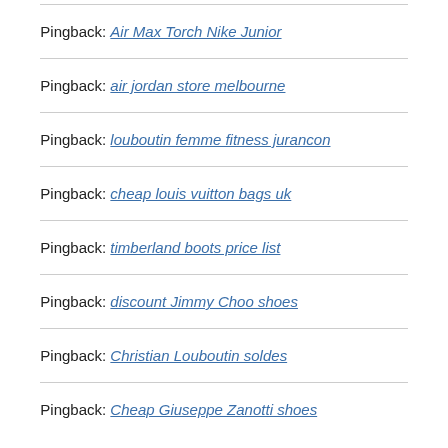Pingback: Air Max Torch Nike Junior
Pingback: air jordan store melbourne
Pingback: louboutin femme fitness jurancon
Pingback: cheap louis vuitton bags uk
Pingback: timberland boots price list
Pingback: discount Jimmy Choo shoes
Pingback: Christian Louboutin soldes
Pingback: Cheap Giuseppe Zanotti shoes